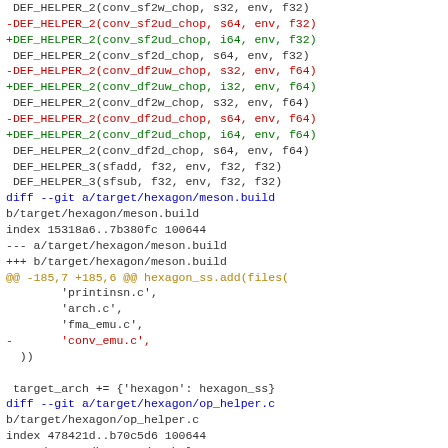Code diff showing changes to QEMU hexagon target files including conv helper definitions and meson build file modifications